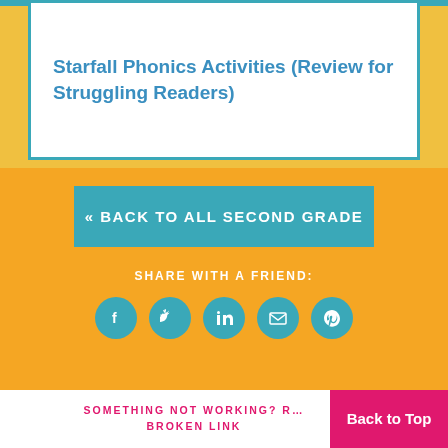Starfall Phonics Activities (Review for Struggling Readers)
« BACK TO ALL SECOND GRADE
SHARE WITH A FRIEND:
[Figure (infographic): Five teal social media share icon circles: Facebook, Twitter, LinkedIn, Email, Pinterest]
SOMETHING NOT WORKING? REPORT A BROKEN LINK
Back to Top